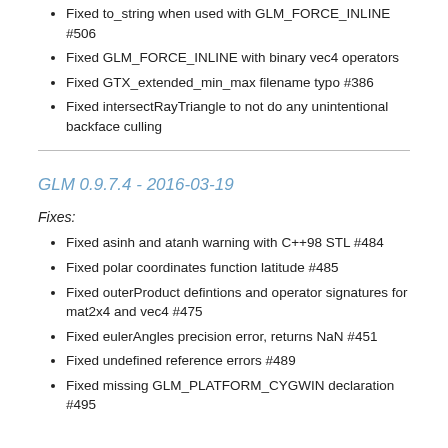Fixed to_string when used with GLM_FORCE_INLINE #506
Fixed GLM_FORCE_INLINE with binary vec4 operators
Fixed GTX_extended_min_max filename typo #386
Fixed intersectRayTriangle to not do any unintentional backface culling
GLM 0.9.7.4 - 2016-03-19
Fixes:
Fixed asinh and atanh warning with C++98 STL #484
Fixed polar coordinates function latitude #485
Fixed outerProduct defintions and operator signatures for mat2x4 and vec4 #475
Fixed eulerAngles precision error, returns NaN #451
Fixed undefined reference errors #489
Fixed missing GLM_PLATFORM_CYGWIN declaration #495